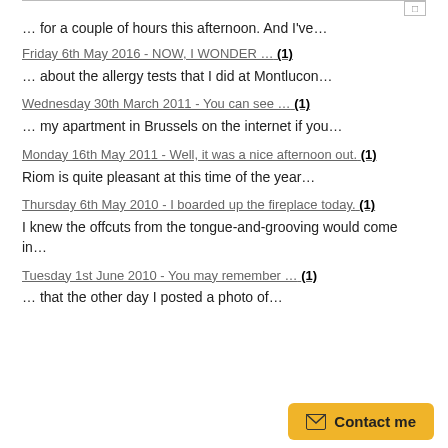… for a couple of hours this afternoon. And I've…
Friday 6th May 2016 - NOW, I WONDER … (1)
… about the allergy tests that I did at Montlucon…
Wednesday 30th March 2011 - You can see … (1)
… my apartment in Brussels on the internet if you…
Monday 16th May 2011 - Well, it was a nice afternoon out. (1)
Riom is quite pleasant at this time of the year…
Thursday 6th May 2010 - I boarded up the fireplace today. (1)
I knew the offcuts from the tongue-and-grooving would come in…
Tuesday 1st June 2010 - You may remember … (1)
… that the other day I posted a photo of…